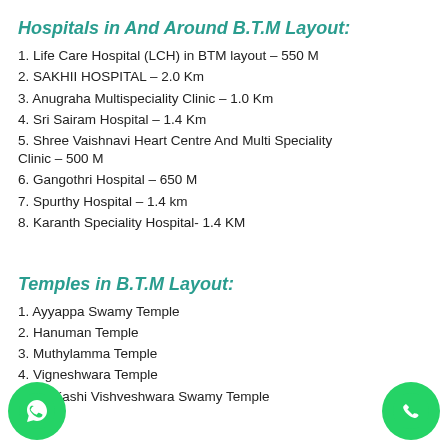Hospitals in And Around B.T.M Layout:
1. Life Care Hospital (LCH) in BTM layout – 550 M
2. SAKHII HOSPITAL – 2.0 Km
3. Anugraha Multispeciality Clinic – 1.0 Km
4. Sri Sairam Hospital – 1.4 Km
5. Shree Vaishnavi Heart Centre And Multi Speciality Clinic – 500 M
6. Gangothri Hospital – 650 M
7. Spurthy Hospital – 1.4 km
8. Karanth Speciality Hospital- 1.4 KM
Temples in B.T.M Layout:
1. Ayyappa Swamy Temple
2. Hanuman Temple
3. Muthylamma Temple
4. Vigneshwara Temple
5. Sri Kashi Vishveshwara Swamy Temple